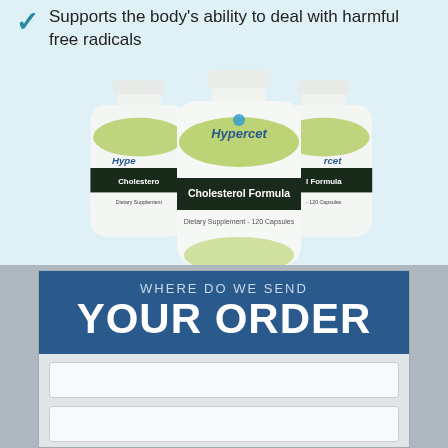Supports the body's ability to deal with harmful free radicals
[Figure (photo): Three white bottles of Hypercet Cholesterol Formula Dietary Supplement - 120 Capsules arranged together]
WHERE DO WE SEND YOUR ORDER
[Figure (other): Two blank input form fields for order shipping information]